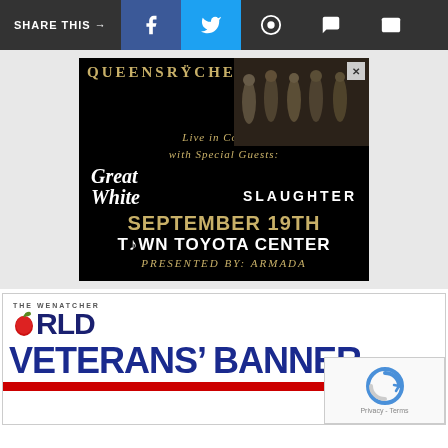SHARE THIS →
[Figure (photo): Queensrÿche concert advertisement: band photo with members in dark clothing, text reads QUEENSRŸCHE Live in Concert with Special Guests: Great White, Slaughter, September 19th, Town Toyota Center, Presented by: Armada]
[Figure (logo): The Wenatcher World newspaper logo with apple icon]
VETERANS' BANNER